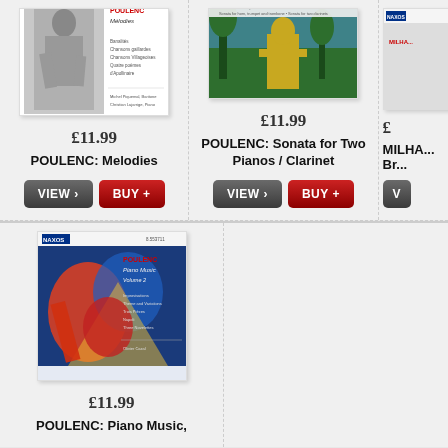[Figure (photo): Album cover: POULENC Mélodies, black and white photo of a man, Naxos label]
£11.99
POULENC: Melodies
[Figure (screenshot): VIEW button]
[Figure (screenshot): BUY + button]
[Figure (photo): Album cover: POULENC Complete Chamber Music Volume 3, outdoor statue photo, Naxos label]
£11.99
POULENC: Sonata for Two Pianos / Clarinet
[Figure (screenshot): VIEW button]
[Figure (screenshot): BUY + button]
MILHA... Br...
[Figure (photo): Album cover: POULENC Piano Music Volume 2, colorful abstract art, Naxos label]
£11.99
POULENC: Piano Music,